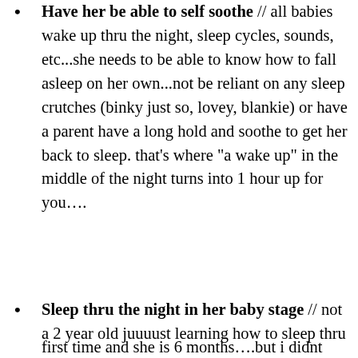Have her be able to self soothe // all babies wake up thru the night, sleep cycles, sounds, etc...she needs to be able to know how to fall asleep on her own...not be reliant on any sleep crutches (binky just so, lovey, blankie) or have a parent have a long hold and soothe to get her back to sleep. that’s where “a wake up” in the middle of the night turns into 1 hour up for you….
Sleep thru the night in her baby stage // not a 2 year old juuuust learning how to sleep thru
first time and she is 6 months….but i didnt want
Privacy & Cookies: This site uses cookies. By continuing to use this website, you agree to their use.
To find out more, including how to control cookies, see here: Cookie Policy